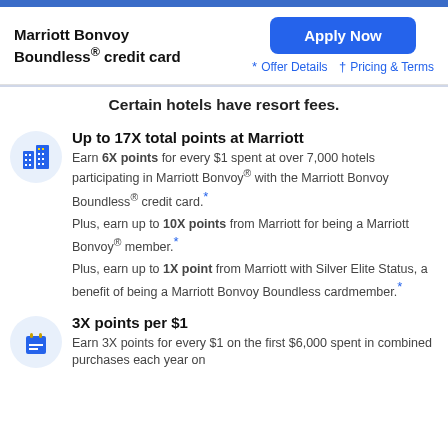Marriott Bonvoy Boundless® credit card
Certain hotels have resort fees.
Up to 17X total points at Marriott
Earn 6X points for every $1 spent at over 7,000 hotels participating in Marriott Bonvoy® with the Marriott Bonvoy Boundless® credit card.*
Plus, earn up to 10X points from Marriott for being a Marriott Bonvoy® member.*
Plus, earn up to 1X point from Marriott with Silver Elite Status, a benefit of being a Marriott Bonvoy Boundless cardmember.*
3X points per $1
Earn 3X points for every $1 on the first $6,000 spent in combined purchases each year on